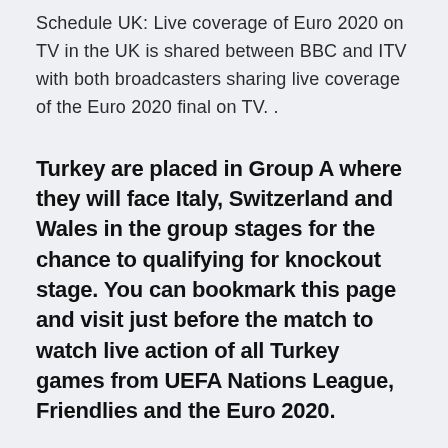Schedule UK: Live coverage of Euro 2020 on TV in the UK is shared between BBC and ITV with both broadcasters sharing live coverage of the Euro 2020 final on TV. .
Turkey are placed in Group A where they will face Italy, Switzerland and Wales in the group stages for the chance to qualifying for knockout stage. You can bookmark this page and visit just before the match to watch live action of all Turkey games from UEFA Nations League, Friendlies and the Euro 2020.